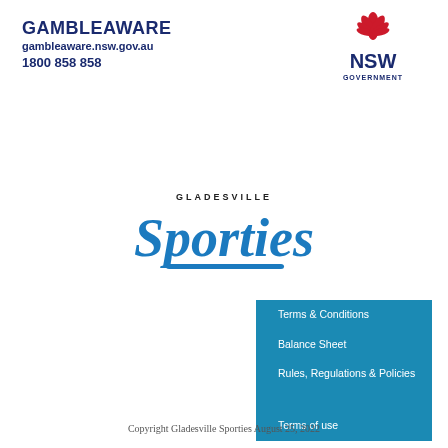GAMBLEAWARE
gambleaware.nsw.gov.au
1800 858 858
[Figure (logo): NSW Government logo with red lotus flower and NSW text in navy blue]
[Figure (logo): Gladesville Sporties logo in blue cursive script with 'GLADESVILLE' in small caps above]
Terms & Conditions
Balance Sheet
Rules, Regulations & Policies
Terms of use
Copyright Gladesville Sporties August 25, 2022